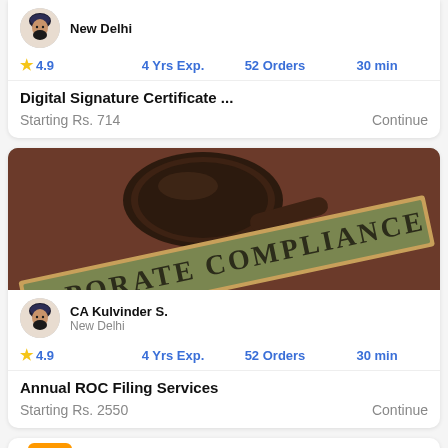[Figure (other): Profile avatar (top, partial card) - person with turban]
New Delhi
★ 4.9    4 Yrs Exp.    52 Orders    30 min
Digital Signature Certificate ...
Starting Rs. 714    Continue
[Figure (photo): Legal gavel and corporate compliance nameplate sign on red/brown background]
CA Kulvinder S.
New Delhi
★ 4.9    4 Yrs Exp.    52 Orders    30 min
Annual ROC Filing Services
Starting Rs. 2550    Continue
[Figure (other): Partial view of company-themed card with orange figure icon and COMPANY text]